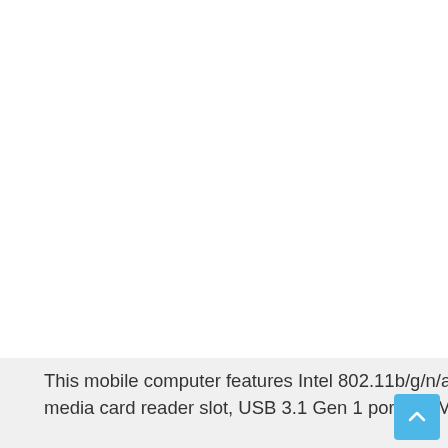This mobile computer features Intel 802.11b/g/n/ac (2x2) Wi-Fi, Bluetooth 4.2 Combo, multi-format SD media card reader slot, USB 3.1 Gen 1 port, HDMI port,